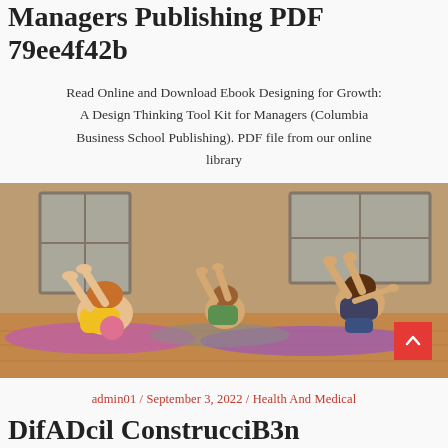Managers Publishing PDF 79ee4f42b
Read Online and Download Ebook Designing for Growth: A Design Thinking Tool Kit for Managers (Columbia Business School Publishing). PDF file from our online library
[Figure (photo): Women doing pilates/yoga exercises on pink mats in a studio with large windows and wooden floors. A red scroll-to-top button is visible in the bottom right corner.]
admin01 / September 3, 2022 / Health And Medical
DifADcil ConstrucciB3n RepBAblica